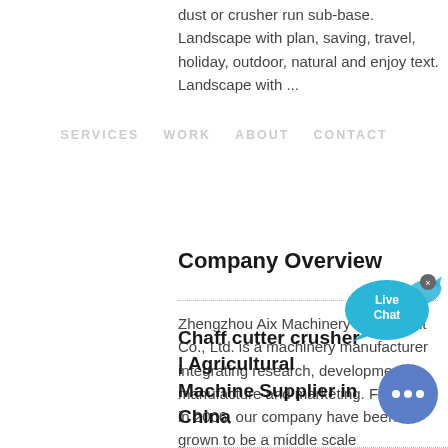dust or crusher run sub-base. Landscape with plan, saving, travel, holiday, outdoor, natural and enjoy text. Landscape with ...
SERVICES   WORK   ABOUT   CONTACT
Company Overview
[Figure (other): Live Chat bubble icon in cyan/teal with fish shape]
Zhengzhou Aix Machinery Equipment Co., Ltd. is a machinery manufacturer integrating research, development, manufacture and marketing. Founded in 2006, our company have been grown to be a middle scale manufacturing and exporting enterprise and established stable business relationships with customers from many...
COLOR:
Orange
Blue
Yellow
Chaff cutter crusher | Agricultural Machine Supplier in China
[Figure (other): Blue circular chat button with three dots]